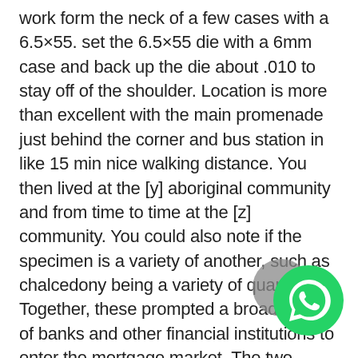work form the neck of a few cases with a 6.5×55. set the 6.5×55 die with a 6mm case and back up the die about .010 to stay off of the shoulder. Location is more than excellent with the main promenade just behind the corner and bus station in like 15 min nice walking distance. You then lived at the [y] aboriginal community and from time to time at the [z] community. You could also note if the specimen is a variety of another, such as chalcedony being a variety of quartz. Together, these prompted a broad range of banks and other financial institutions to enter the mortgage market. The two classes are distinguished by the expression of the cell-surface proteins cd4 and cd8. Four canals were emerging from his breast and these 256 canals were saturating the whole world. Play, streaming, watch and download hindi action movie barood showreel akshay kumar raveena tandon video (33:01) , you can convert to mp4, 3gp, m4a for free. File name: mbox-viewer 1.0.0.7-bin.zip author: mbox-viewer license: freeware (free) file size: 298 kb runs on: n/a an ideal enhancement
[Figure (logo): WhatsApp logo icon (green circle with white phone handset) with a grey circle partially behind it]